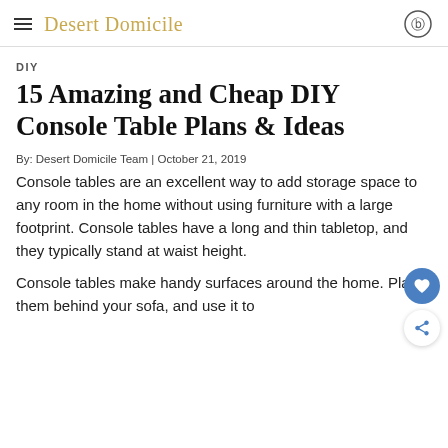Desert Domicile
DIY
15 Amazing and Cheap DIY Console Table Plans & Ideas
By: Desert Domicile Team | October 21, 2019
Console tables are an excellent way to add storage space to any room in the home without using furniture with a large footprint. Console tables have a long and thin tabletop, and they typically stand at waist height.
Console tables make handy surfaces around the home. Place them behind your sofa, and use it to